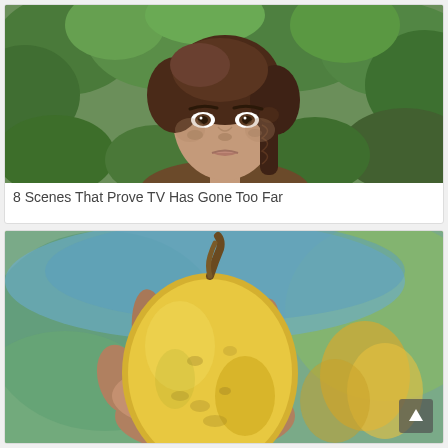[Figure (photo): A woman with braided dark hair standing outdoors in a jungle/forest setting with green foliage behind her, looking directly at camera with a serious expression]
8 Scenes That Prove TV Has Gone Too Far
[Figure (photo): A close-up of a hand holding a large yellow cacao/tropical fruit with a brown stem, with blurred green and yellow fruits in the background]